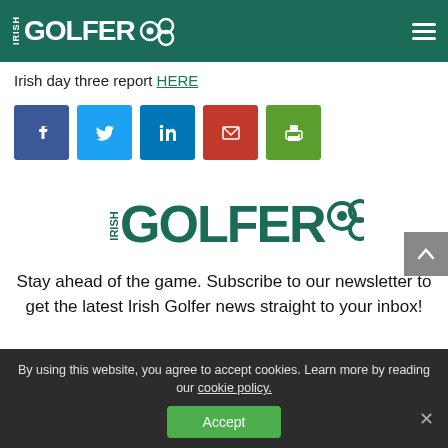IRISH GOLFER
Irish day three report HERE
[Figure (illustration): Social share buttons: Facebook, Twitter, LinkedIn, Email, Print]
[Figure (logo): Irish Golfer logo — large centered version with IRISH in vertical text and GOLFER in bold with infinity/golf ball icons]
Stay ahead of the game. Subscribe to our newsletter to get the latest Irish Golfer news straight to your inbox!
By using this website, you agree to accept cookies. Learn more by reading our cookie policy.
Accept